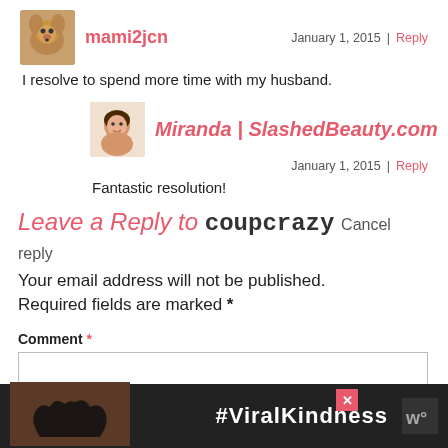mami2jcn
January 1, 2015 | Reply
I resolve to spend more time with my husband.
Miranda | SlashedBeauty.com
January 1, 2015 | Reply
Fantastic resolution!
Leave a Reply to coupcrazy Cancel reply
Your email address will not be published. Required fields are marked *
Comment *
[Figure (infographic): Advertisement banner with hands forming a heart shape, text #ViralKindness on dark background]